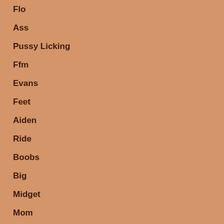Flo
Ass
Pussy Licking
Ffm
Evans
Feet
Aiden
Ride
Boobs
Big
Midget
Mom
Arabic
Beauty
Bbw